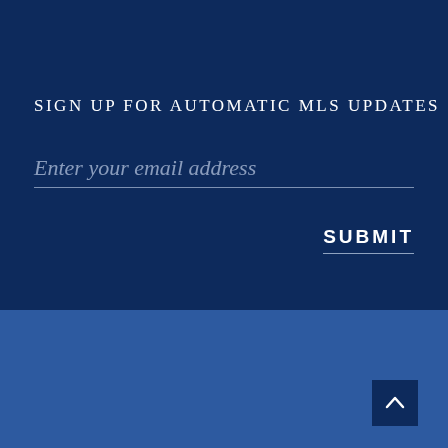SIGN UP FOR AUTOMATIC MLS UPDATES
Enter your email address
SUBMIT